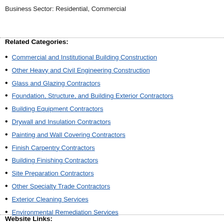Business Sector: Residential, Commercial
Related Categories:
Commercial and Institutional Building Construction
Other Heavy and Civil Engineering Construction
Glass and Glazing Contractors
Foundation, Structure, and Building Exterior Contractors
Building Equipment Contractors
Drywall and Insulation Contractors
Painting and Wall Covering Contractors
Finish Carpentry Contractors
Building Finishing Contractors
Site Preparation Contractors
Other Specialty Trade Contractors
Exterior Cleaning Services
Environmental Remediation Services
Website Links: